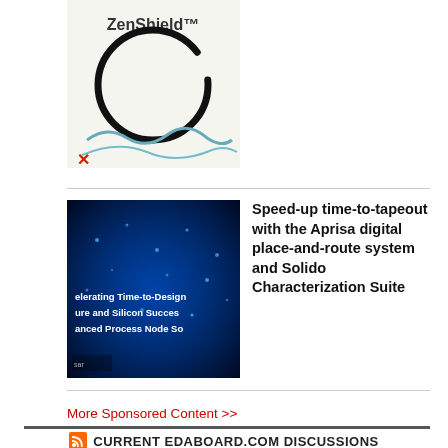[Figure (logo): ZenShield logo with circular brushstroke design and wave/landscape imagery below]
[Figure (screenshot): Dark blue presentation slide with text: Accelerating Time-to-Design, ure and Silicon Success, anced Process Node SoC]
Speed-up time-to-tapeout with the Aprisa digital place-and-route system and Solido Characterization Suite
More Sponsored Content >>
CURRENT EDABOARD.COM DISCUSSIONS